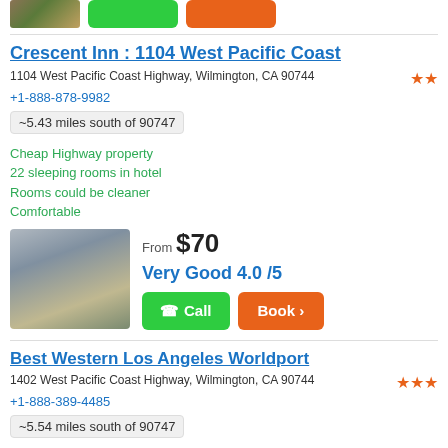[Figure (screenshot): Top strip with a small property photo thumbnail, a green button, and an orange button]
Crescent Inn : 1104 West Pacific Coast
1104 West Pacific Coast Highway, Wilmington, CA 90744
+1-888-878-9982
~5.43 miles south of 90747
Cheap Highway property
22 sleeping rooms in hotel
Rooms could be cleaner
Comfortable
[Figure (photo): Photo of hotel staircase/exterior structure]
From $70
Very Good 4.0 /5
Best Western Los Angeles Worldport
1402 West Pacific Coast Highway, Wilmington, CA 90744
+1-888-389-4485
~5.54 miles south of 90747